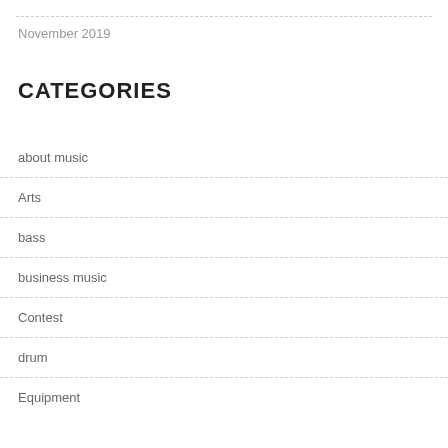November 2019
CATEGORIES
about music
Arts
bass
business music
Contest
drum
Equipment